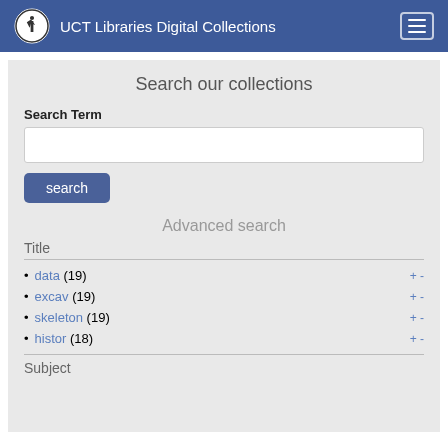UCT Libraries Digital Collections
Search our collections
Search Term
search
Advanced search
Title
data (19)
excav (19)
skeleton (19)
histor (18)
Subject